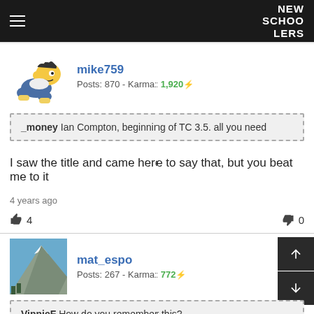NEW SCHOOLERS
mike759
Posts: 870 - Karma: 1,920
_money Ian Compton, beginning of TC 3.5. all you need
I saw the title and came here to say that, but you beat me to it
4 years ago
4   0
mat_espo
Posts: 267 - Karma: 772
VinnieF How do you remember this?